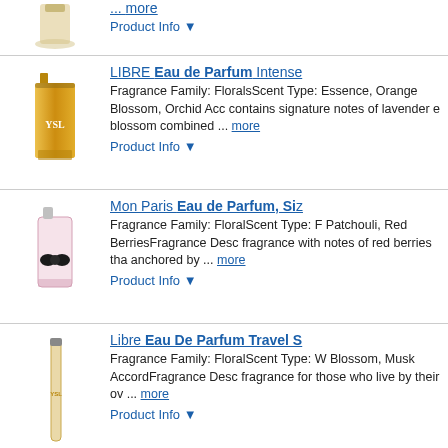[Figure (photo): Partial view of a perfume bottle at the top of page]
... more
Product Info ▼
LIBRE Eau de Parfum Intense
Fragrance Family: FloralsScent Type: Essence, Orange Blossom, Orchid Acc contains signature notes of lavender e blossom combined ... more
Product Info ▼
Mon Paris Eau de Parfum, Si...
Fragrance Family: FloralScent Type: F Patchouli, Red BerriesFragrance Desc fragrance with notes of red berries tha anchored by ... more
Product Info ▼
Libre Eau De Parfum Travel S...
Fragrance Family: FloralScent Type: W Blossom, Musk AccordFragrance Desc fragrance for those who live by their ov ... more
Product Info ▼
Black Opium Illicit Green Eau...
Fragrance Family: Warm & SpicyScen Notes: Green Mandarin, Fig, CoffeeFr adrenaline, this fragrance features a si